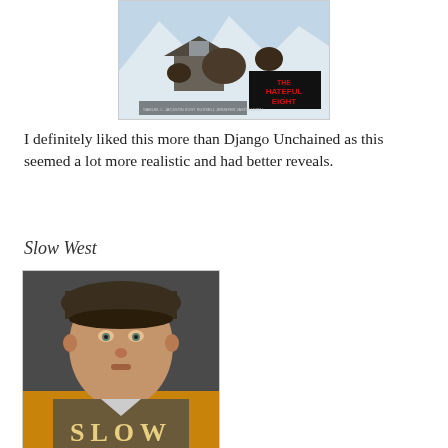[Figure (photo): Movie poster for The Hateful Eight — snowy scene with figures and red title text]
I definitely liked this more than Django Unchained as this seemed a lot more realistic and had better reveals.
Slow West
[Figure (photo): Movie poster for Slow West — man wearing a wide-brim hat, close-up face, orange and grey background with 'SLOW' text at bottom]